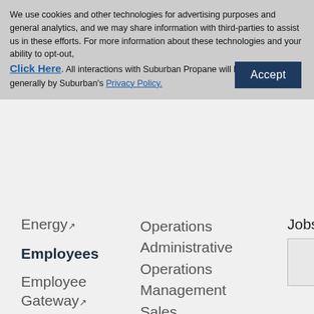We use cookies and other technologies for advertising purposes and general analytics, and we may share information with third-parties to assist us in these efforts. For more information about these technologies and your ability to opt-out, Click Here. All interactions with Suburban Propane will be governed generally by Suburban's Privacy Policy.
Accept
Energy ↗
Employees
Employee Gateway ↗
Operations
Administrative Operations
Management
Sales
Seasonal Employment
Technicians Apprentice Program
Jobs